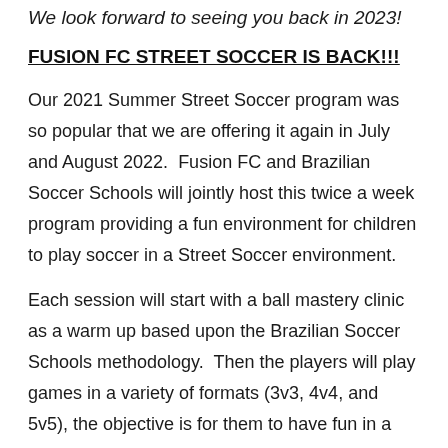We look forward to seeing you back in 2023!
FUSION FC STREET SOCCER IS BACK!!!
Our 2021 Summer Street Soccer program was so popular that we are offering it again in July and August 2022.  Fusion FC and Brazilian Soccer Schools will jointly host this twice a week program providing a fun environment for children to play soccer in a Street Soccer environment.
Each session will start with a ball mastery clinic as a warm up based upon the Brazilian Soccer Schools methodology.  Then the players will play games in a variety of formats (3v3, 4v4, and 5v5), the objective is for them to have fun in a positive